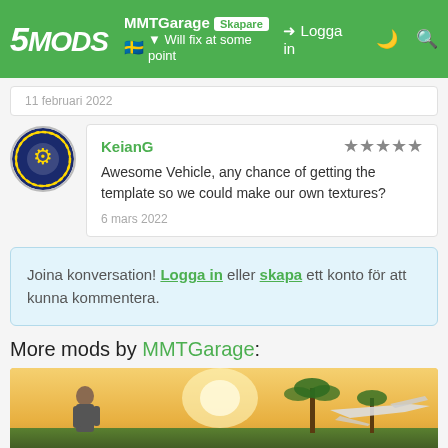5MODS MMTGarage Skapare | Logga in
11 februari 2022
KeianG ★★★★★ Awesome Vehicle, any chance of getting the template so we could make our own textures? 6 mars 2022
Joina konversation! Logga in eller skapa ett konto för att kunna kommentera.
More mods by MMTGarage:
[Figure (photo): Screenshot of a GTA-style scene showing a man and an airplane near palm trees at sunset]